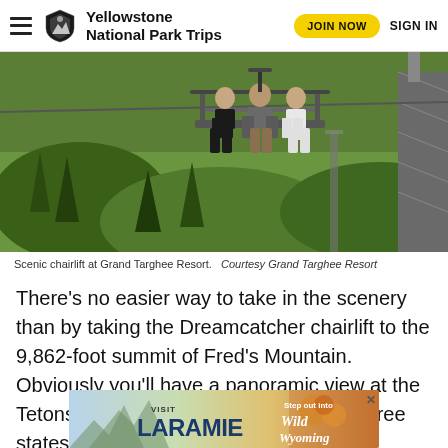Yellowstone National Park Trips
[Figure (photo): Three people riding a scenic chairlift at Grand Targhee Resort, with green forested mountain slopes below and a ski lift tower on the right.]
Scenic chairlift at Grand Targhee Resort.   Courtesy Grand Targhee Resort
There's no easier way to take in the scenery than by taking the Dreamcatcher chairlift to the 9,862-foot summit of Fred's Mountain. Obviously you'll have a panoramic view at the Tetons, but you'll also see into parts of three states. Visit the Nature Center at the top.
[Figure (infographic): Advertisement banner for Visit Laramie / Wild Wyoming]